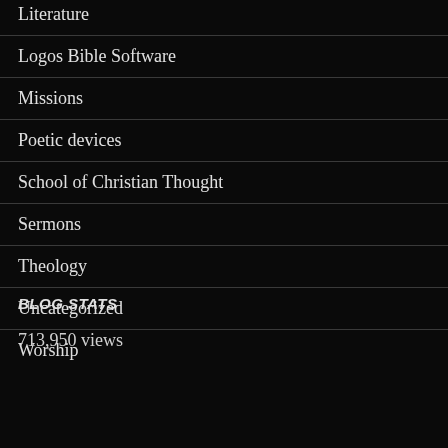Literature
Logos Bible Software
Missions
Poetic devices
School of Christian Thought
Sermons
Theology
Uncategorized
Worship
BLOG STATS
713,950 views